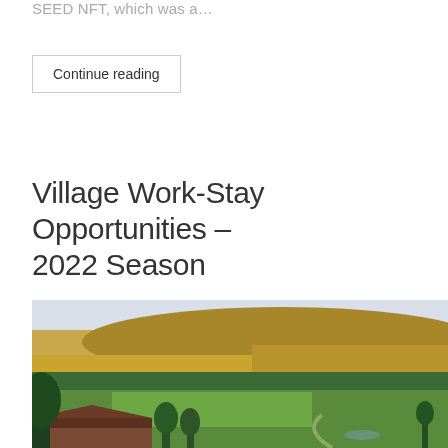SEED NFT, which was a…
Continue reading
Village Work-Stay Opportunities – 2022 Season
[Figure (photo): Aerial landscape photo showing a rural valley with green fields, forested hillsides with autumn yellow foliage, rolling hills in the background, and a building with a brown/red roof in the foreground, surrounded by evergreen trees.]